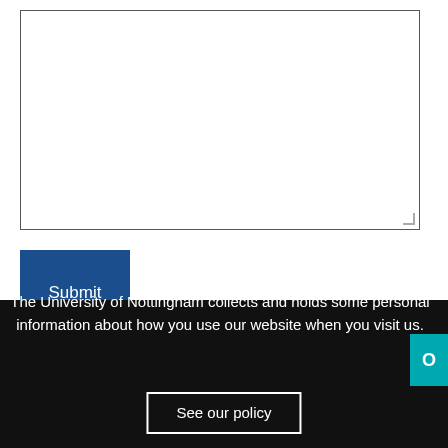[Figure (other): A textarea input box with resize handle in the bottom right corner]
Submit
The information that you provide in this form will be held in accordance with the General Data Protection Regulation 2018. Your personal data will be collected and processed for the purpose of allowing you to contact the Business Partnership Unit. Your contact details will be used to respond to you.
The University of Nottingham collects and holds some personal information about how you use our website when you visit us.
See our policy